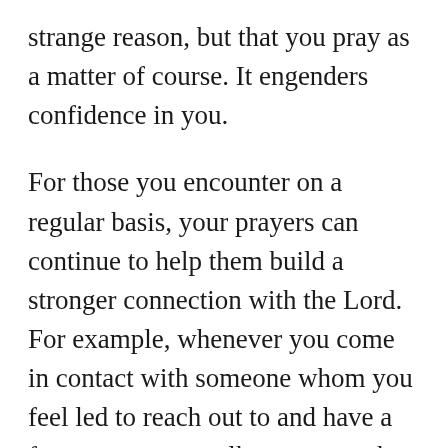strange reason, but that you pray as a matter of course. It engenders confidence in you.
For those you encounter on a regular basis, your prayers can continue to help them build a stronger connection with the Lord. For example, whenever you come in contact with someone whom you feel led to reach out to and have a few moments to talk, you can ask how they’re doing and offer to pray for any needs they may have. The more they sense their life being touched by your prayers, the more they will be willing to pour out whatever is burdening them. God’s personal touch through your prayers